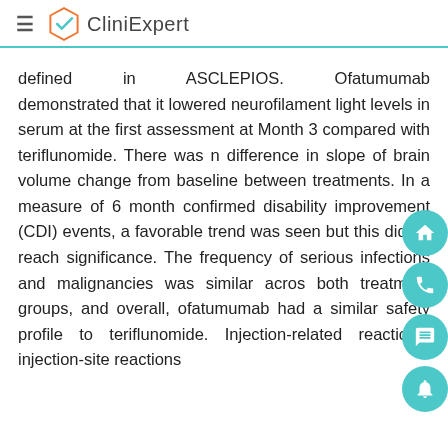CliniExpert
defined in ASCLEPIOS. Ofatumumab demonstrated that it lowered neurofilament light levels in serum at the first assessment at Month 3 compared with teriflunomide. There was no difference in slope of brain volume change from baseline between treatments. In a measure of 6-month confirmed disability improvement (CDI) events, a favorable trend was seen but this did not reach significance. The frequency of serious infections and malignancies was similar across both treatment groups, and overall, ofatumumab had a similar safety profile to teriflunomide. Injection-related reactions, injection-site reactions